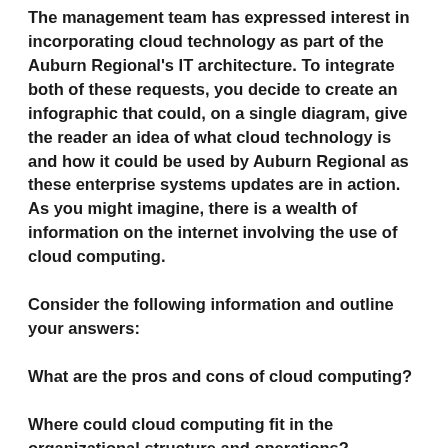The management team has expressed interest in incorporating cloud technology as part of the Auburn Regional's IT architecture. To integrate both of these requests, you decide to create an infographic that could, on a single diagram, give the reader an idea of what cloud technology is and how it could be used by Auburn Regional as these enterprise systems updates are in action. As you might imagine, there is a wealth of information on the internet involving the use of cloud computing.
Consider the following information and outline your answers:
What are the pros and cons of cloud computing?
Where could cloud computing fit in the organizational structure and operations?